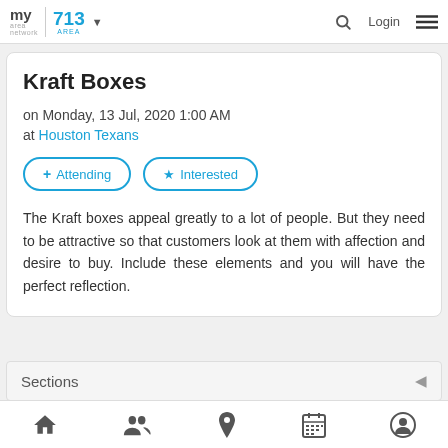my area network | 713 AREA | Login
Kraft Boxes
on Monday, 13 Jul, 2020 1:00 AM
at Houston Texans
+ Attending   ★ Interested
The Kraft boxes appeal greatly to a lot of people. But they need to be attractive so that customers look at them with affection and desire to buy. Include these elements and you will have the perfect reflection.
Sections
Home | People | Location | Calendar | Profile